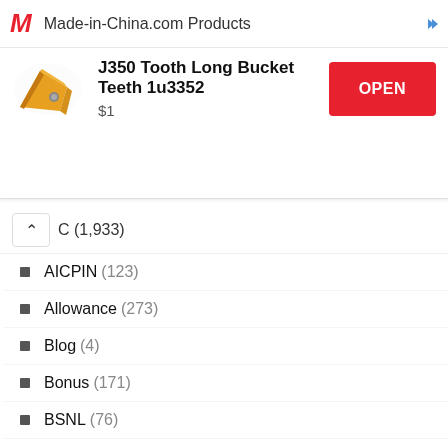[Figure (screenshot): Made-in-China.com advertisement banner showing product 'J350 Tooth Long Bucket Teeth 1u3352' priced at $1 with an OPEN button]
C (1,933)
AICPIN (123)
Allowance (273)
Blog (4)
Bonus (171)
BSNL (76)
CCS (144)
Central Government Jobs (139)
CGDA (83)
CGHS (420)
CPSE (45)
CSD (51)
CSS (96)